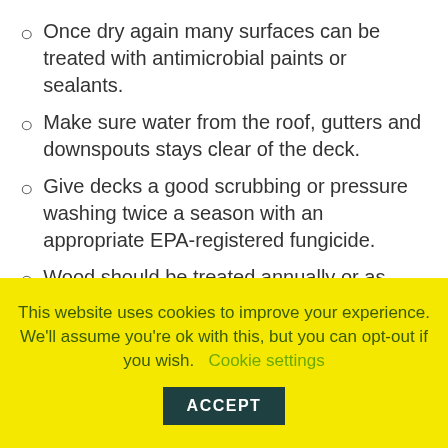Once dry again many surfaces can be treated with antimicrobial paints or sealants.
Make sure water from the roof, gutters and downspouts stays clear of the deck.
Give decks a good scrubbing or pressure washing twice a season with an appropriate EPA-registered fungicide.
Wood should be treated annually or as recommended with an appropriate waterproofing coating.
Fences can be cleaned in the spring and fall on a clear, sunny day so surfaces will dry quickly.
If installing a new fence, be sure that the bottoms
This website uses cookies to improve your experience. We'll assume you're ok with this, but you can opt-out if you wish. Cookie settings ACCEPT